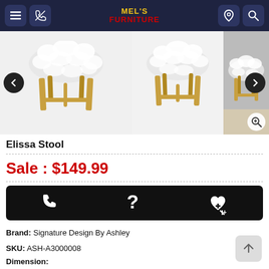Mel's Furniture — navigation header with menu, phone, logo, location, search icons
[Figure (photo): Product image carousel showing white fluffy Elissa Stool with gold legs, three views, with left and right navigation arrows and zoom button]
Elissa Stool
Sale : $149.99
[Figure (infographic): Black action bar with phone/call icon, question mark/help icon, and heart-plus/wishlist icon]
Brand: Signature Design By Ashley
SKU: ASH-A3000008
Dimension:
19"W x 19"D x 17"H